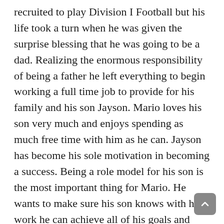recruited to play Division I Football but his life took a turn when he was given the surprise blessing that he was going to be a dad. Realizing the enormous responsibility of being a father he left everything to begin working a full time job to provide for his family and his son Jayson. Mario loves his son very much and enjoys spending as much free time with him as he can. Jayson has become his sole motivation in becoming a success. Being a role model for his son is the most important thing for Mario. He wants to make sure his son knows with hard work he can achieve all of his goals and dreams.
At the age of 23 Mario made a move to Orange County where he worked at Heat Ultra Lounge as a Host and Promoter. Mario really enjoyed the social